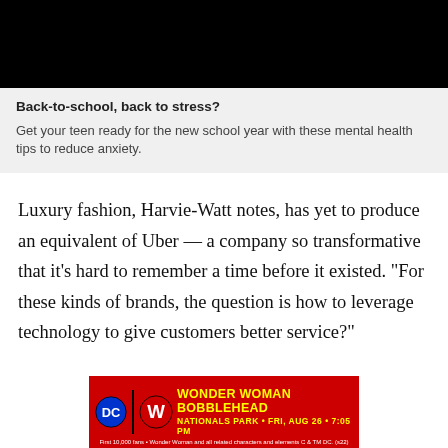[Figure (photo): Black image/video thumbnail at top of card]
Back-to-school, back to stress?
Get your teen ready for the new school year with these mental health tips to reduce anxiety.
Luxury fashion, Harvie-Watt notes, has yet to produce an equivalent of Uber — a company so transformative that it’s hard to remember a time before it existed. “For these kinds of brands, the question is how to leverage technology to give customers better service?”
[Figure (infographic): Wonder Woman Bobblehead advertisement banner for Nationals Park, Fri, Aug 26, 7:05 PM. DC and Washington Nationals logos. First 10,000 fans. Wonder Woman and all related characters and elements C & TM DC. (s22)]